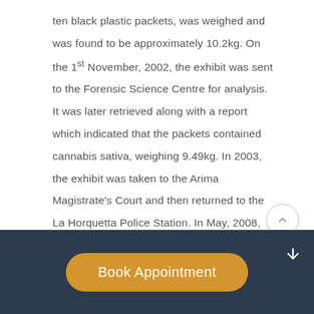ten black plastic packets, was weighed and was found to be approximately 10.2kg. On the 1st November, 2002, the exhibit was sent to the Forensic Science Centre for analysis. It was later retrieved along with a report which indicated that the packets contained cannabis sativa, weighing 9.49kg. In 2003, the exhibit was taken to the Arima Magistrate's Court and then returned to the La Horquetta Police Station. In May, 2008, Police Inspector Forde destroyed the exhibit under the mistaken impression that the case had been completed. The exhibit was weighed prior to its destruction and was found to be
Book Appointment